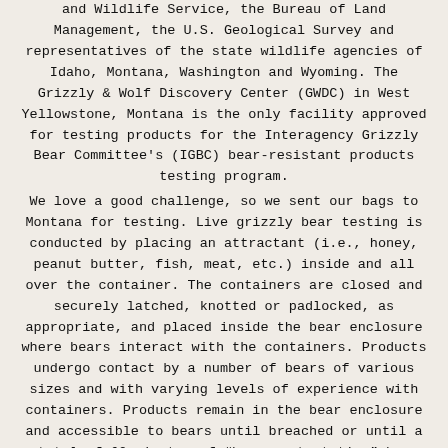and Wildlife Service, the Bureau of Land Management, the U.S. Geological Survey and representatives of the state wildlife agencies of Idaho, Montana, Washington and Wyoming. The Grizzly & Wolf Discovery Center (GWDC) in West Yellowstone, Montana is the only facility approved for testing products for the Interagency Grizzly Bear Committee's (IGBC) bear-resistant products testing program.
We love a good challenge, so we sent our bags to Montana for testing. Live grizzly bear testing is conducted by placing an attractant (i.e., honey, peanut butter, fish, meat, etc.) inside and all over the container. The containers are closed and securely latched, knotted or padlocked, as appropriate, and placed inside the bear enclosure where bears interact with the containers. Products undergo contact by a number of bears of various sizes and with varying levels of experience with containers. Products remain in the bear enclosure and accessible to bears until breached or until a total of 60 minutes of “bear contact time” has been reached (or until bears lose interest). “Bear contact time” is defined as biting, clawing, pounding, rolling, compressing,